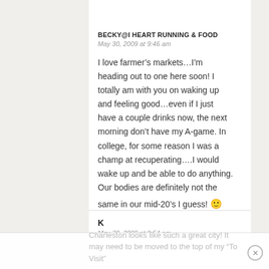BECKY@I HEART RUNNING & FOOD
May 30, 2009 at 9:46 am
I love farmer’s markets…I’m heading out to one here soon! I totally am with you on waking up and feeling good…even if I just have a couple drinks now, the next morning don’t have my A-game. In college, for some reason I was a champ at recuperating….I would wake up and be able to do anything. Our bodies are definitely not the same in our mid-20’s I guess! 🙂
K
May 30, 2009 at 9:54 am
Charleston looks like such a great city! It may need to be moved to the top of my “To Visit”